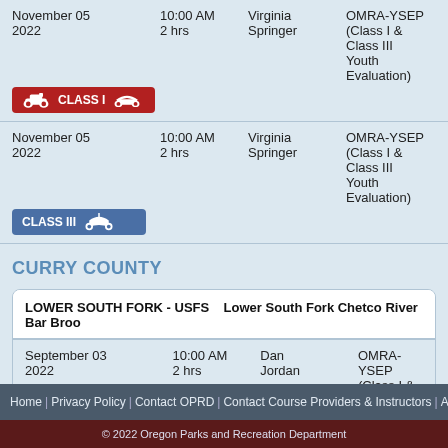| Date | Time | Instructor | Course |
| --- | --- | --- | --- |
| November 05 2022 | 10:00 AM
2 hrs | Virginia Springer | OMRA-YSEP (Class I & Class III Youth Evaluation) | CLASS I |
| November 05 2022 | 10:00 AM
2 hrs | Virginia Springer | OMRA-YSEP (Class I & Class III Youth Evaluation) | CLASS III |
CURRY COUNTY
| Location | Description |
| --- | --- |
| LOWER SOUTH FORK - USFS | Lower South Fork Chetco River Bar Broo... |
| Date | Time | Instructor | Course |
| --- | --- | --- | --- |
| September 03 2022 | 10:00 AM
2 hrs | Dan Jordan | OMRA-YSEP (Class I & Class III Youth Evaluation) | CLASS I |
| September 03 2022 | 10:00 AM
2 hrs | Dan Jordan | OMRA-YSEP (Class I & Class III Youth Evaluation) | CLASS III |
Home | Privacy Policy | Contact OPRD | Contact Course Providers & Instructors | ATV
© 2022 Oregon Parks and Recreation Department